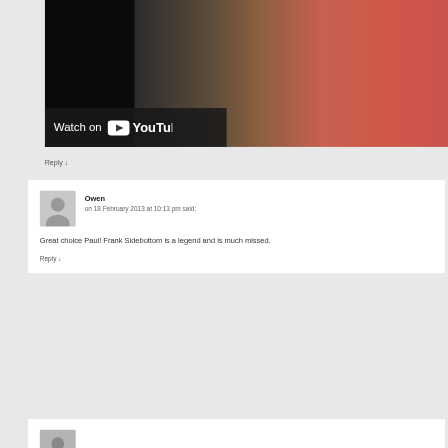[Figure (screenshot): YouTube video thumbnail showing a person in a red jacket, with a 'Watch on YouTube' overlay button at the bottom left]
Reply ↓
Owen
on 18 February 2013 at 10:13 pm said:
Great choice Paul! Frank Sidebottom is a legend and is much missed.
Reply ↓